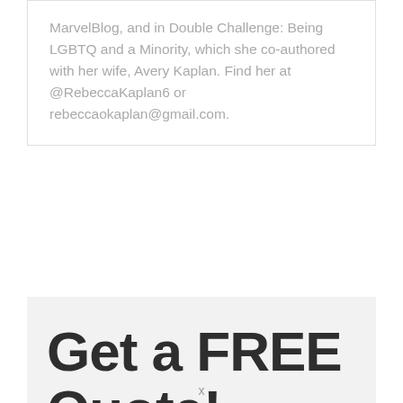MarvelBlog, and in Double Challenge: Being LGBTQ and a Minority, which she co-authored with her wife, Avery Kaplan. Find her at @RebeccaKaplan6 or rebeccaokaplan@gmail.com.
Get a FREE Quote!
Interested in booking a Disney Vacation? Look no further! The award winning agents at